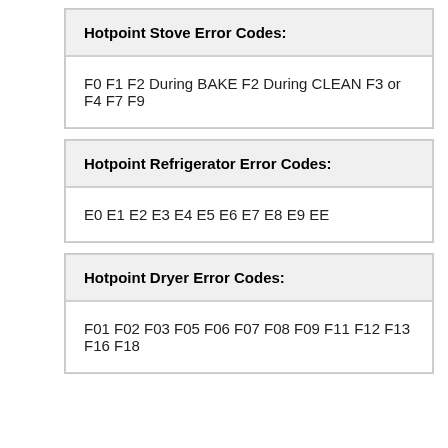Hotpoint Stove Error Codes:
F0 F1 F2 During BAKE F2 During CLEAN F3 or F4 F7 F9
Hotpoint Refrigerator Error Codes:
E0 E1 E2 E3 E4 E5 E6 E7 E8 E9 EE
Hotpoint Dryer Error Codes:
F01 F02 F03 F05 F06 F07 F08 F09 F11 F12 F13 F16 F18